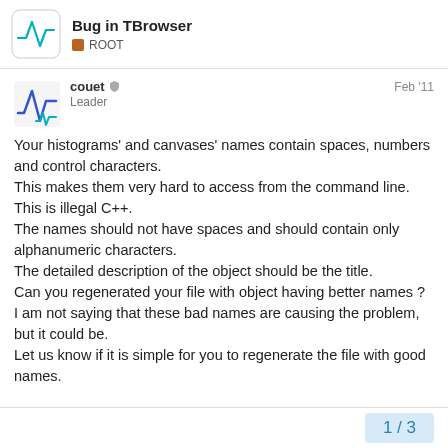Bug in TBrowser · ROOT
couet · Leader · Feb '11
Your histograms' and canvases' names contain spaces, numbers and control characters.
This makes them very hard to access from the command line.
This is illegal C++.
The names should not have spaces and should contain only alphanumeric characters.
The detailed description of the object should be the title.
Can you regenerated your file with object having better names ?
I am not saying that these bad names are causing the problem, but it could be.
Let us know if it is simple for you to regenerate the file with good names.
1 / 3